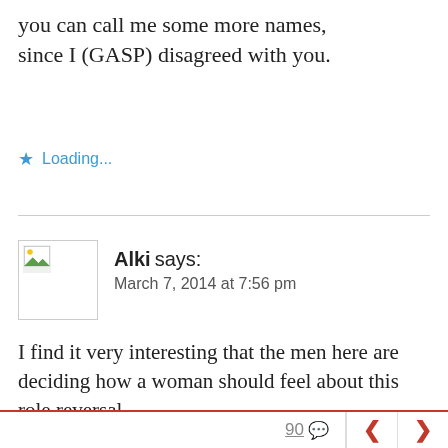you can call me some more names, since I (GASP) disagreed with you.
Loading...
Alki says:
March 7, 2014 at 7:56 pm
I find it very interesting that the men here are deciding how a woman should feel about this role reversal.
If you are a true man, then you will listen...
90 < >